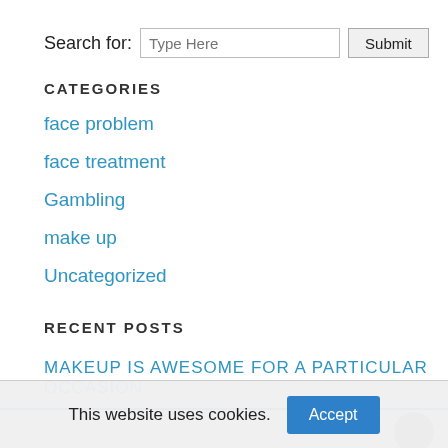Search for: Type Here  Submit
CATEGORIES
face problem
face treatment
Gambling
make up
Uncategorized
RECENT POSTS
MAKEUP IS AWESOME FOR A PARTICULAR OCCASION
This website uses cookies.  Accept